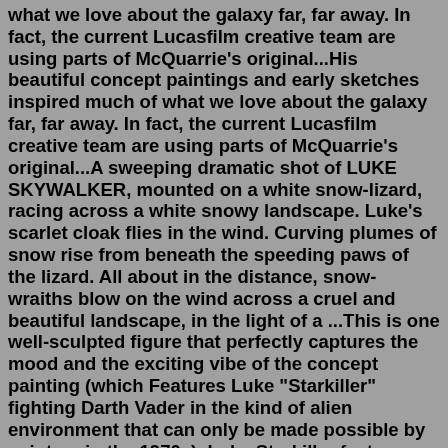what we love about the galaxy far, far away. In fact, the current Lucasfilm creative team are using parts of McQuarrie's original...His beautiful concept paintings and early sketches inspired much of what we love about the galaxy far, far away. In fact, the current Lucasfilm creative team are using parts of McQuarrie's original...A sweeping dramatic shot of LUKE SKYWALKER, mounted on a white snow-lizard, racing across a white snowy landscape. Luke's scarlet cloak flies in the wind. Curving plumes of snow rise from beneath the speeding paws of the lizard. All about in the distance, snow-wraiths blow on the wind across a cruel and beautiful landscape, in the light of a ...This is one well-sculpted figure that perfectly captures the mood and the exciting vibe of the concept painting (which Features Luke "Starkiller" fighting Darth Vader in the kind of alien environment that can only be made possible by painters in the 1970s). Luke Starkiller facts. While investigating facts about Luke Starkiller Concept Art and Luke Starkiller Me, I found out little known, but